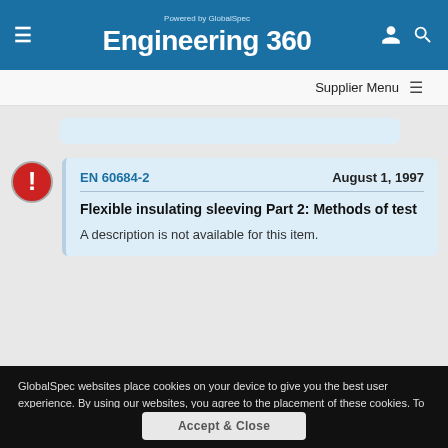Engineering 360 — Powered by GlobalSpec
Supplier Menu
EN 60684-2   August 1, 1997
Flexible insulating sleeving Part 2: Methods of test
A description is not available for this item.
GlobalSpec websites place cookies on your device to give you the best user experience. By using our websites, you agree to the placement of these cookies. To learn more, read our Privacy Policy
Accept & Close